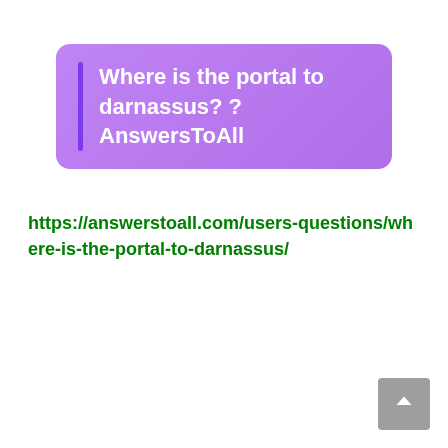Where is the portal to darnassus? ? AnswersToAll
https://answerstoall.com/users-questions/where-is-the-portal-to-darnassus/